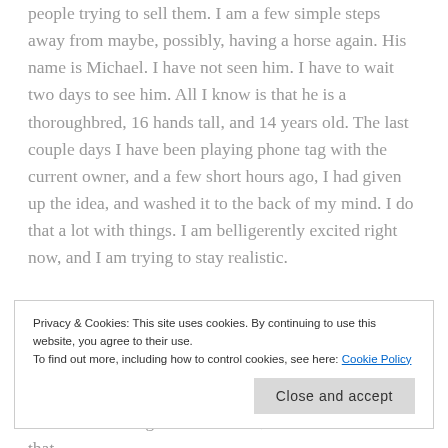people trying to sell them. I am a few simple steps away from maybe, possibly, having a horse again. His name is Michael. I have not seen him. I have to wait two days to see him. All I know is that he is a thoroughbred, 16 hands tall, and 14 years old. The last couple days I have been playing phone tag with the current owner, and a few short hours ago, I had given up the idea, and washed it to the back of my mind. I do that a lot with things. I am belligerently excited right now, and I am trying to stay realistic.

I have always had horses around. I grew up riding my big sister's childhood horse, and when my big brother moved out, I got Baby May as a grumpy fat hand me down horse.
Privacy & Cookies: This site uses cookies. By continuing to use this website, you agree to their use.
To find out more, including how to control cookies, see here: Cookie Policy
had kicked through the back wall, and two windows that